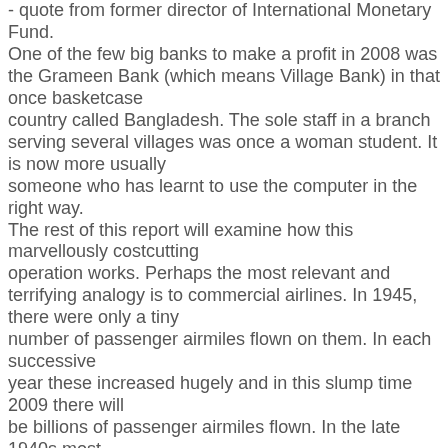- quote from former director of International Monetary Fund. One of the few big banks to make a profit in 2008 was the Grameen Bank (which means Village Bank) in that once basketcase country called Bangladesh. The sole staff in a branch serving several villages was once a woman student. It is now more usually someone who has learnt to use the computer in the right way. The rest of this report will examine how this marvellously costcutting operation works. Perhaps the most relevant and terrifying analogy is to commercial airlines. In 1945, there were only a tiny number of passenger airmiles flown on them. In each successive year these increased hugely and in this slump time 2009 there will be billions of passenger airmiles flown. In the late 1940s most governments therefore created national airlines and were confident they would flourish in this boom industry, with